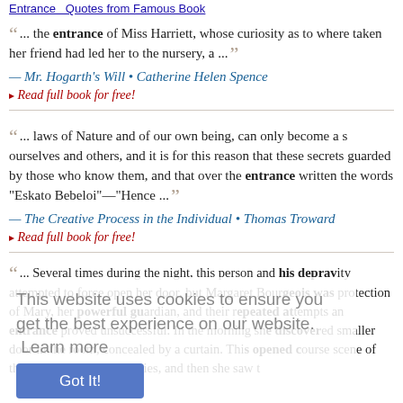Entrance  Quotes from Famous Books
... the entrance of Miss Harriett, whose curiosity as to where taken her friend had led her to the nursery, a ...
— Mr. Hogarth's Will • Catherine Helen Spence
‣ Read full book for free!
... laws of Nature and of our own being, can only become a s ourselves and others, and it is for this reason that these secrets guarded by those who know them, and that over the entrance written the words "Eskato Bebeloi"—"Hence ...
— The Creative Process in the Individual • Thomas Troward
‣ Read full book for free!
... Several times during the night, this person and his depravity attempted to force open her door, but Margaret Bourgeois was protection of Mary, her powerful guardian, and their repeated an entrance proved unsuccessful. In the morning she discovered smaller door in the room, concealed by a curtain. This opened scene of the past night's debaucheries, and then she saw the
This website uses cookies to ensure you get the best experience on our website. Learn more
Got It!